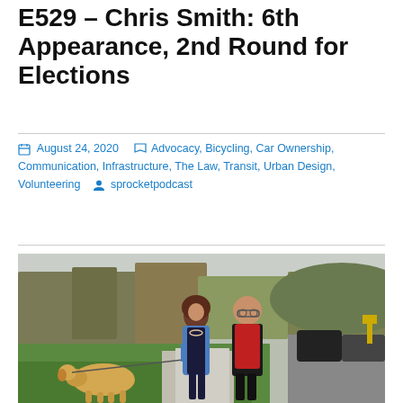E529 – Chris Smith: 6th Appearance, 2nd Round for Elections
August 24, 2020  Advocacy, Bicycling, Car Ownership, Communication, Infrastructure, The Law, Transit, Urban Design, Volunteering  sprocketpodcast
[Figure (photo): Two people walking a golden-colored dog on a leash along a pathway next to a grassy area and trees. The woman on the left wears a blue coat and dark outfit with a necklace; the man on the right wears a red vest over a dark long-sleeve shirt and black pants. Cars are visible in the background on the right, and trees with autumn foliage frame the scene.]